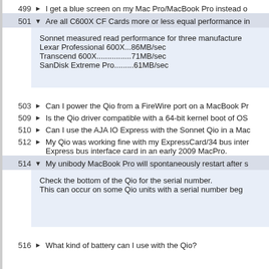499 ▶ I get a blue screen on my Mac Pro/MacBook Pro instead of
501 ▼ Are all C600X CF Cards more or less equal performance in
Sonnet measured read performance for three manufacture
Lexar Professional 600X...86MB/sec
Transcend 600X................71MB/sec
SanDisk Extreme Pro.........61MB/sec
503 ▶ Can I power the Qio from a FireWire port on a MacBook Pr
509 ▶ Is the Qio driver compatible with a 64-bit kernel boot of OS
510 ▶ Can I use the AJA IO Express with the Sonnet Qio in a Mac
512 ▶ My Qio was working fine with my ExpressCard/34 bus inter
Express bus interface card in an early 2009 MacPro.
514 ▼ My unibody MacBook Pro will spontaneously restart after s
Check the bottom of the Qio for the serial number.
This can occur on some Qio units with a serial number beg
516 ▶ What kind of battery can I use with the Qio?